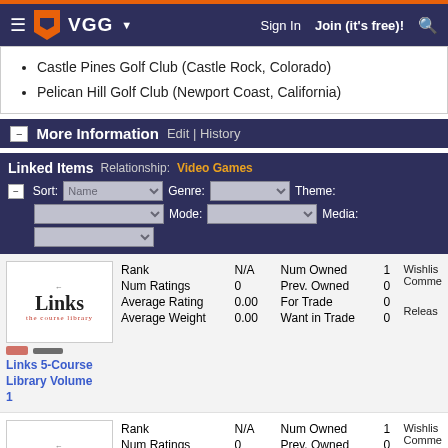VGG — Sign In | Join (it's free)!
Castle Pines Golf Club (Castle Rock, Colorado)
Pelican Hill Golf Club (Newport Coast, California)
More Information  Edit | History
Linked Items  Relationship: Video Games
Sort: Name  Genre:  Theme:  Mode:  Media:
|  | Rank | N/A | Num Owned | 1 | Wishlist |
| --- | --- | --- | --- | --- | --- |
| Links (image) | Num Ratings | 0 | Prev. Owned | 0 | Comme |
|  | Average Rating | 0.00 | For Trade | 0 |  |
| Links 5-Course Library Volume 1 | Average Weight | 0.00 | Want in Trade | 0 | Release |
|  | Rank | N/A | Num Owned | 1 | Wishlist |
| --- | --- | --- | --- | --- | --- |
| Links (image) | Num Ratings | 0 | Prev. Owned | 0 | Comme |
|  | Average Rating | 0.00 | For Trade | 0 |  |
| Links 5-Course | Average Weight | 0.00 | Want in Trade | 0 | Release |